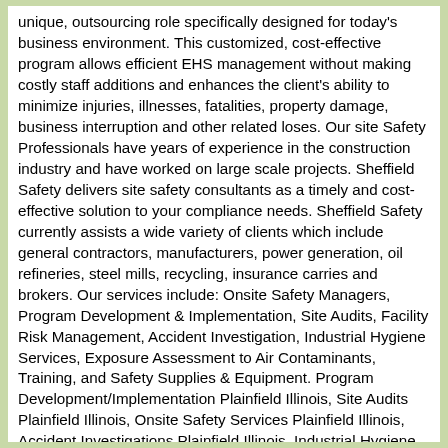unique, outsourcing role specifically designed for today's business environment. This customized, cost-effective program allows efficient EHS management without making costly staff additions and enhances the client's ability to minimize injuries, illnesses, fatalities, property damage, business interruption and other related loses. Our site Safety Professionals have years of experience in the construction industry and have worked on large scale projects. Sheffield Safety delivers site safety consultants as a timely and cost-effective solution to your compliance needs. Sheffield Safety currently assists a wide variety of clients which include general contractors, manufacturers, power generation, oil refineries, steel mills, recycling, insurance carries and brokers. Our services include: Onsite Safety Managers, Program Development & Implementation, Site Audits, Facility Risk Management, Accident Investigation, Industrial Hygiene Services, Exposure Assessment to Air Contaminants, Training, and Safety Supplies & Equipment. Program Development/Implementation Plainfield Illinois, Site Audits Plainfield Illinois, Onsite Safety Services Plainfield Illinois, Accident Investigations Plainfield Illinois, Industrial Hygiene Services Plainfield Illinois, Exposure Assessment to